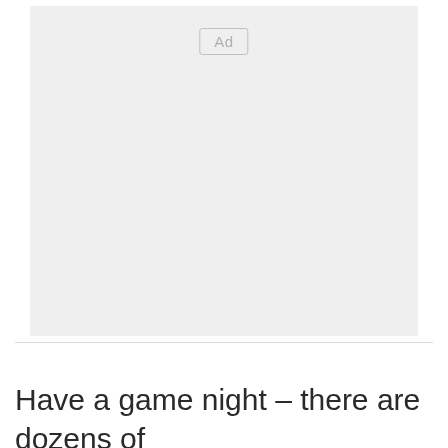[Figure (other): Advertisement placeholder box with 'Ad' label centered near top]
Have a game night – there are dozens of